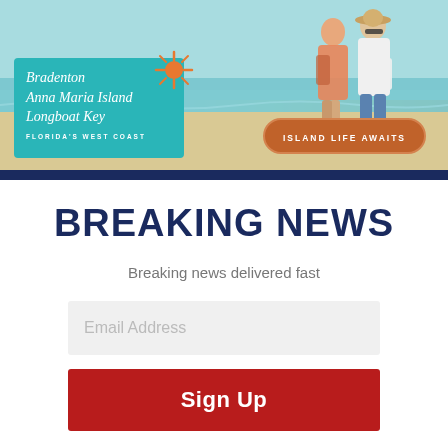[Figure (photo): Advertisement banner for Bradenton, Anna Maria Island, Longboat Key — Florida's West Coast. Shows a couple walking on a beach with teal branding box, sun logo, and 'Island Life Awaits' button.]
BREAKING NEWS
Breaking news delivered fast
Email Address
Sign Up